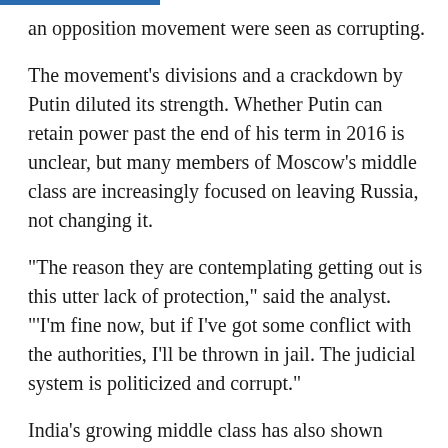an opposition movement were seen as corrupting.
The movement's divisions and a crackdown by Putin diluted its strength. Whether Putin can retain power past the end of his term in 2016 is unclear, but many members of Moscow's middle class are increasingly focused on leaving Russia, not changing it.
"The reason they are contemplating getting out is this utter lack of protection," said the analyst. "'I'm fine now, but if I've got some conflict with the authorities, I'll be thrown in jail. The judicial system is politicized and corrupt."
India's growing middle class has also shown signs of a